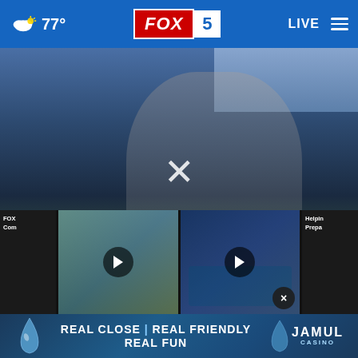FOX 5 | 77° | LIVE
[Figure (screenshot): FOX 5 news app screenshot showing a female Navy officer waving, with a close button (X) overlay]
CONGRATULATIONS! FOX 5'S LIBERTY ZABALA COMMISSIONED ENSIGN TO THE NAVY RESERVE
UTS ITS ARMED FORCES ON 'HIGH ALERT' | UN INSPECTORS HEAD T | HEADLINES
[Figure (screenshot): Video thumbnail showing female figure waving outdoors with play button]
[Figure (screenshot): Video thumbnail showing news studio with anchor and play button]
FOX | Com
Helpin Prepa
[Figure (advertisement): Jamul Casino advertisement with text: REAL CLOSE | REAL FRIENDLY REAL FUN]